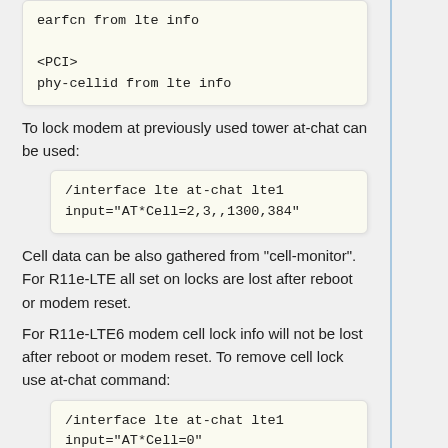earfcn from lte info

<PCI>
phy-cellid from lte info
To lock modem at previously used tower at-chat can be used:
/interface lte at-chat lte1
input="AT*Cell=2,3,,1300,384"
Cell data can be also gathered from "cell-monitor". For R11e-LTE all set on locks are lost after reboot or modem reset.
For R11e-LTE6 modem cell lock info will not be lost after reboot or modem reset. To remove cell lock use at-chat command:
/interface lte at-chat lte1
input="AT*Cell=0"
for R11e-4G